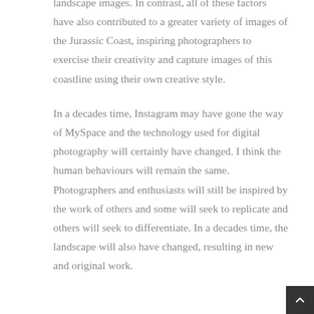landscape images. In contrast, all of these factors have also contributed to a greater variety of images of the Jurassic Coast, inspiring photographers to exercise their creativity and capture images of this coastline using their own creative style.
In a decades time, Instagram may have gone the way of MySpace and the technology used for digital photography will certainly have changed. I think the human behaviours will remain the same. Photographers and enthusiasts will still be inspired by the work of others and some will seek to replicate and others will seek to differentiate. In a decades time, the landscape will also have changed, resulting in new and original work.